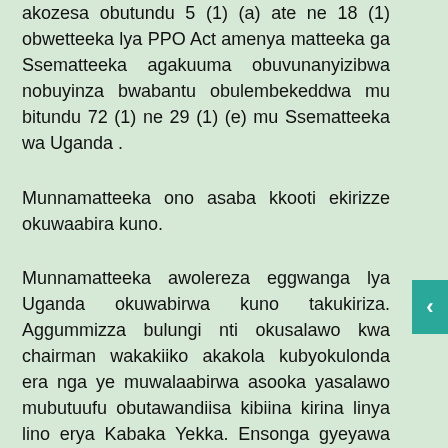akozesa obutundu 5 (1) (a) ate ne 18 (1) obwetteeka lya PPO Act amenya matteeka ga Ssematteeka agakuuma obuvunanyizibwa nobuyinza bwabantu obulembekeddwa mu bitundu 72 (1) ne 29 (1) (e) mu Ssematteeka wa Uganda .
Munnamatteeka ono asaba kkooti ekirizze okuwaabira kuno.
Munnamatteeka awolereza eggwanga lya Uganda okuwabirwa kuno takukiriza. Aggummizza bulungi nti okusalawo kwa chairman wakakiiko akakola kubyokulonda era nga ye muwalaabirwa asooka yasalawo mubutuufu obutawandiisa kibiina kirina linya lino erya Kabaka Yekka. Ensonga gyeyawa nga agamba nti abantu babulijjo abakulu nga ate bateegera bulungi bajja kutabulatabula erinya lino Nobwakabaka bwa Buganda .Era bwekityo mungeri evo ekilolwa kino kiija kumenya obutundu 5 (1) (o) (b)